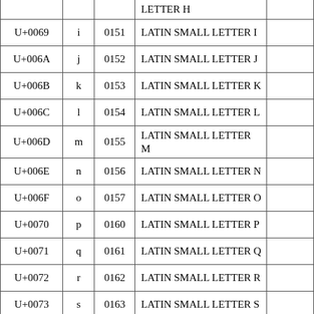| Code | Char | Dec | Name |  |
| --- | --- | --- | --- | --- |
|  |  |  | LETTER H |  |
| U+0069 | i | 0151 | LATIN SMALL LETTER I |  |
| U+006A | j | 0152 | LATIN SMALL LETTER J |  |
| U+006B | k | 0153 | LATIN SMALL LETTER K |  |
| U+006C | l | 0154 | LATIN SMALL LETTER L |  |
| U+006D | m | 0155 | LATIN SMALL LETTER M |  |
| U+006E | n | 0156 | LATIN SMALL LETTER N |  |
| U+006F | o | 0157 | LATIN SMALL LETTER O |  |
| U+0070 | p | 0160 | LATIN SMALL LETTER P |  |
| U+0071 | q | 0161 | LATIN SMALL LETTER Q |  |
| U+0072 | r | 0162 | LATIN SMALL LETTER R |  |
| U+0073 | s | 0163 | LATIN SMALL LETTER S |  |
|  |  |  | LATIN SMALL |  |